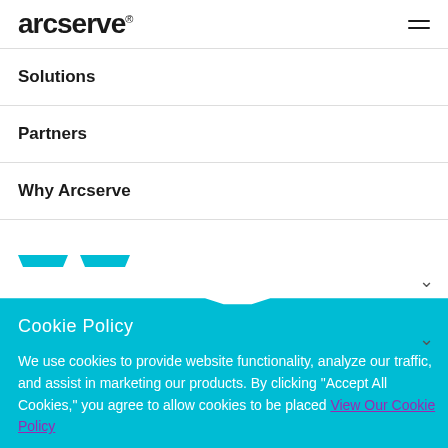arcserve®
Solutions
Partners
Why Arcserve
Cookie Policy
We use cookies to provide website functionality, analyze our traffic, and assist in marketing our products. By clicking "Accept All Cookies," you agree to allow cookies to be placed View Our Cookie Policy